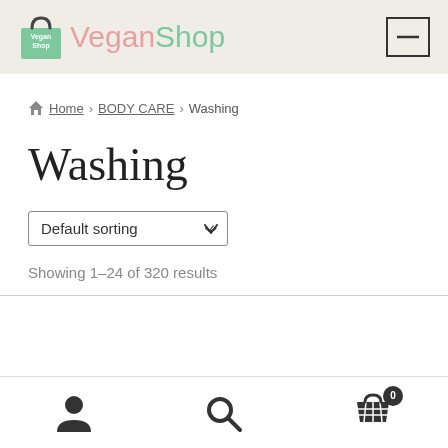VeganShop
Home › BODY CARE › Washing
Washing
Default sorting
Showing 1–24 of 320 results